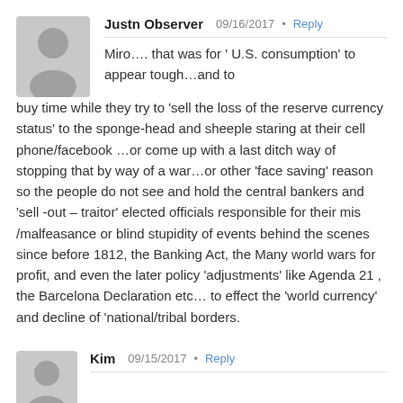Justn Observer   09/16/2017  •  Reply
Miro…. that was for ' U.S. consumption' to appear tough…and to buy time while they try to 'sell the loss of the reserve currency status' to the sponge-head and sheeple staring at their cell phone/facebook …or come up with a last ditch way of stopping that by way of a war…or other 'face saving' reason so the people do not see and hold the central bankers and 'sell -out – traitor' elected officials responsible for their mis /malfeasance or blind stupidity of events behind the scenes since before 1812, the Banking Act, the Many world wars for profit, and even the later policy 'adjustments' like Agenda 21 , the Barcelona Declaration etc… to effect the 'world currency' and decline of 'national/tribal borders.
Kim   09/15/2017  •  Reply